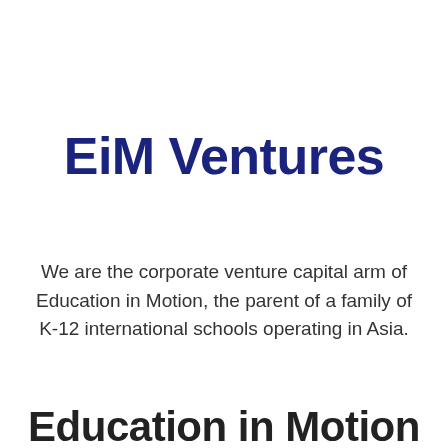EiM Ventures
We are the corporate venture capital arm of Education in Motion, the parent of a family of K-12 international schools operating in Asia.
Education in Motion